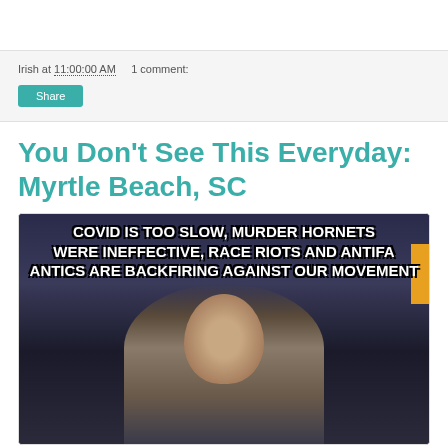Irish at 11:00:00 AM   1 comment:
Share
You Don't See This Everyday: Myrtle Beach, SC
[Figure (photo): Meme image featuring a bald man holding a cat with text overlay reading: COVID IS TOO SLOW, MURDER HORNETS WERE INEFFECTIVE, RACE RIOTS AND ANTIFA ANTICS ARE BACKFIRING AGAINST OUR MOVEMENT]